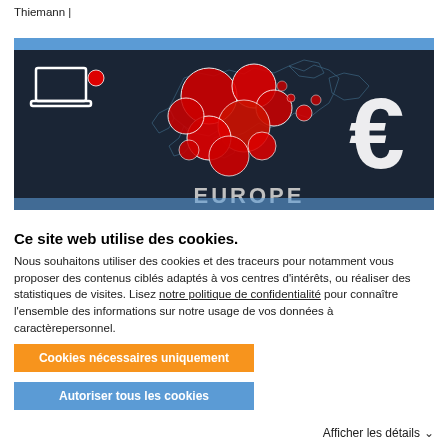Thiemann |
[Figure (illustration): A dark map of Europe with red bubble circles of varying sizes overlaid on different countries, a white laptop icon in the top-left, and a large white Euro (€) symbol on the right side. The word 'EUROPE' is partially visible at the bottom center. The image has a blue border bar at the top.]
Ce site web utilise des cookies.
Nous souhaitons utiliser des cookies et des traceurs pour notamment vous proposer des contenus ciblés adaptés à vos centres d'intérêts, ou réaliser des statistiques de visites. Lisez notre politique de confidentialité pour connaître l'ensemble des informations sur notre usage de vos données à caractèrepersonnel.
Cookies nécessaires uniquement
Autoriser tous les cookies
Afficher les détails ˅